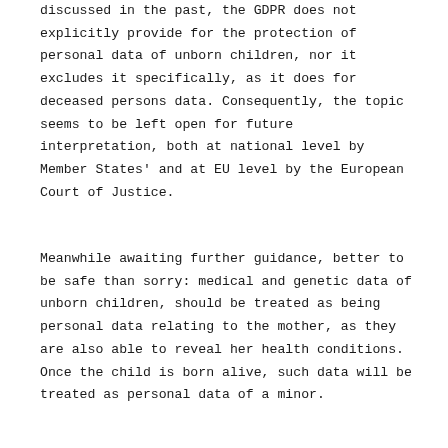discussed in the past, the GDPR does not explicitly provide for the protection of personal data of unborn children, nor it excludes it specifically, as it does for deceased persons data. Consequently, the topic seems to be left open for future interpretation, both at national level by Member States' and at EU level by the European Court of Justice.
Meanwhile awaiting further guidance, better to be safe than sorry: medical and genetic data of unborn children, should be treated as being personal data relating to the mother, as they are also able to reveal her health conditions. Once the child is born alive, such data will be treated as personal data of a minor.